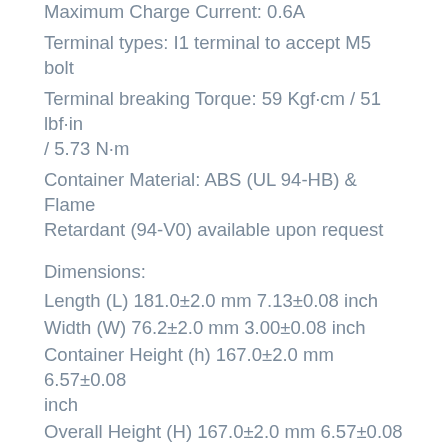Maximum Charge Current: 0.6A Terminal types: I1 terminal to accept M5 bolt Terminal breaking Torque: 59 Kgf·cm / 51 lbf·in / 5.73 N·m Container Material: ABS (UL 94-HB) & Flame Retardant (94-V0) available upon request
Dimensions:
Length (L) 181.0±2.0 mm 7.13±0.08 inch Width (W) 76.2±2.0 mm 3.00±0.08 inch Container Height (h) 167.0±2.0 mm 6.57±0.08 inch Overall Height (H) 167.0±2.0 mm 6.57±0.08 inch
RELATED PRODUCTS